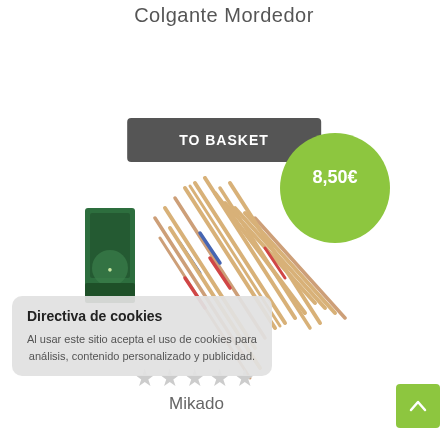Colgante Mordedor
TO BASKET
[Figure (photo): Product image: Mikado game sticks scattered with green box packaging, price badge showing 8,50€]
Directiva de cookies
Al usar este sitio acepta el uso de cookies para análisis, contenido personalizado y publicidad.
★★★★★
Mikado